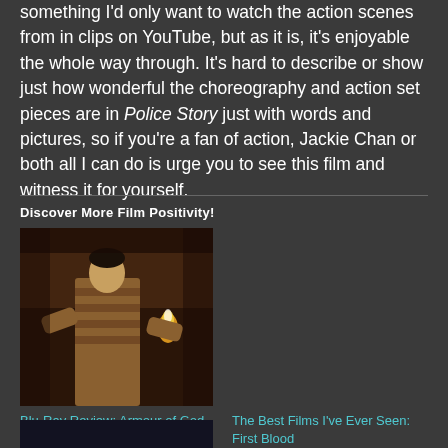something I'd only want to watch the action scenes from in clips on YouTube, but as it is, it's enjoyable the whole way through. It's hard to describe or show just how wonderful the choreography and action set pieces are in Police Story just with words and pictures, so if you're a fan of action, Jackie Chan or both all I can do is urge you to see this film and witness it for yourself.
Discover More Film Positivity!
[Figure (photo): Movie still showing a person in a striped/patterned outfit, with flames visible in the background, from Armour of God]
Blu-Ray Review: Armour of God (Deluxe Collector's Edition, 88 Films)
The Best Films I've Ever Seen: First Blood
[Figure (photo): Partially visible movie still at bottom of page]